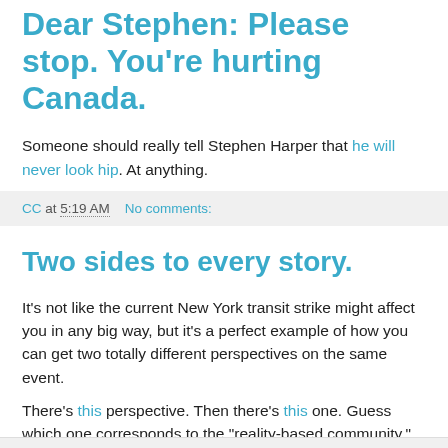Dear Stephen: Please stop. You're hurting Canada.
Someone should really tell Stephen Harper that he will never look hip. At anything.
CC at 5:19 AM   No comments:
Two sides to every story.
It's not like the current New York transit strike might affect you in any big way, but it's a perfect example of how you can get two totally different perspectives on the same event.
There's this perspective. Then there's this one. Guess which one corresponds to the "reality-based community."